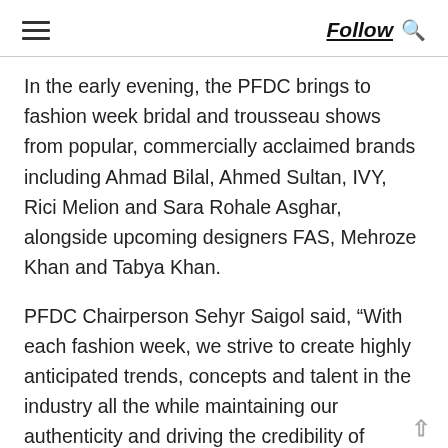Follow
In the early evening, the PFDC brings to fashion week bridal and trousseau shows from popular, commercially acclaimed brands including Ahmad Bilal, Ahmed Sultan, IVY, Rici Melion and Sara Rohale Asghar, alongside upcoming designers FAS, Mehroze Khan and Tabya Khan.
PFDC Chairperson Sehyr Saigol said, “With each fashion week, we strive to create highly anticipated trends, concepts and talent in the industry all the while maintaining our authenticity and driving the credibility of fashion in Pakistan forward. Ensuring the integrity of our platforms, we consistently aim to embody the latest innovations in the fashion world each season with a spirit of continuous innovation.”